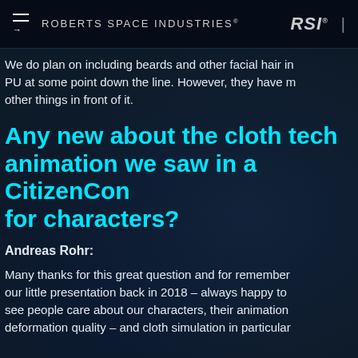ROBERTS SPACE INDUSTRIES® RSI®
We do plan on including beards and other facial hair in PU at some point down the line. However, they have m other things in front of it.
Any new about the cloth tech animation we saw in a CitizenCon for characters?
Andreas Rohr:
Many thanks for this great question and for remember our little presentation back in 2018 – always happy to see people care about our characters, their animation deformation quality – and cloth simulation in particular